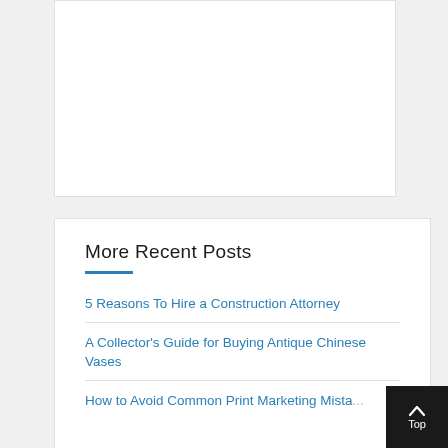[Figure (other): White rectangular card area, empty content block]
More Recent Posts
5 Reasons To Hire a Construction Attorney
A Collector's Guide for Buying Antique Chinese Vases
How to Avoid Common Print Marketing Mistakes